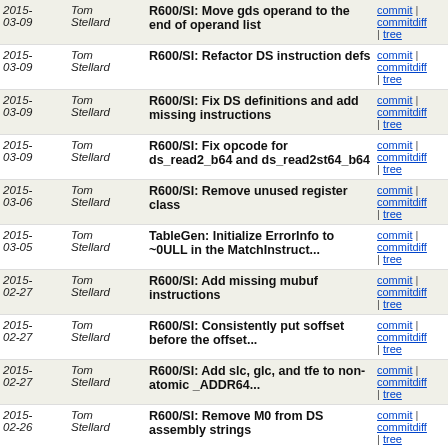| Date | Author | Message | Links |
| --- | --- | --- | --- |
| 2015-03-09 | Tom Stellard | R600/SI: Move gds operand to the end of operand list | commit | commitdiff | tree |
| 2015-03-09 | Tom Stellard | R600/SI: Refactor DS instruction defs | commit | commitdiff | tree |
| 2015-03-09 | Tom Stellard | R600/SI: Fix DS definitions and add missing instructions | commit | commitdiff | tree |
| 2015-03-09 | Tom Stellard | R600/SI: Fix opcode for ds_read2_b64 and ds_read2st64_b64 | commit | commitdiff | tree |
| 2015-03-06 | Tom Stellard | R600/SI: Remove unused register class | commit | commitdiff | tree |
| 2015-03-05 | Tom Stellard | TableGen: Initialize ErrorInfo to ~0ULL in the MatchInstruct... | commit | commitdiff | tree |
| 2015-02-27 | Tom Stellard | R600/SI: Add missing mubuf instructions | commit | commitdiff | tree |
| 2015-02-27 | Tom Stellard | R600/SI: Consistently put soffset before the offset... | commit | commitdiff | tree |
| 2015-02-27 | Tom Stellard | R600/SI: Add slc, glc, and tfe to non-atomic _ADDR64... | commit | commitdiff | tree |
| 2015-02-26 | Tom Stellard | R600/SI: Remove M0 from DS assembly strings | commit | commitdiff | tree |
| 2015-02-24 | Tom Stellard | R600/SI: Remove isel mubuf legalization | commit | commitdiff | tree |
| 2015-02-18 | Tom Stellard | R600/SI: Don't set isCodeGenOnly = 1 on all instructions | commit | commitdiff | tree |
| 2015-02-18 | Tom Stellard | R600/SI: Add missing VOP1 instructions | commit | commitdiff | tree |
| 2015-02-?? | Tom | R600/SI: Add missing VOP2 instructions | commit | |